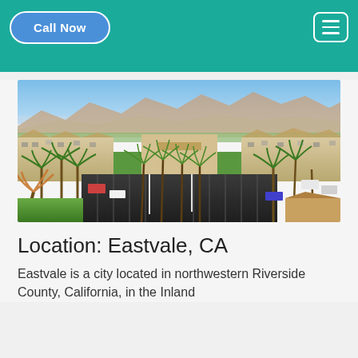Call Now | [hamburger menu]
[Figure (photo): Aerial view of a residential apartment complex in Eastvale, CA with palm tree-lined driveways, parking lots, and mountains in the background under a clear sky.]
Location: Eastvale, CA
Eastvale is a city located in northwestern Riverside County, California, in the Inland